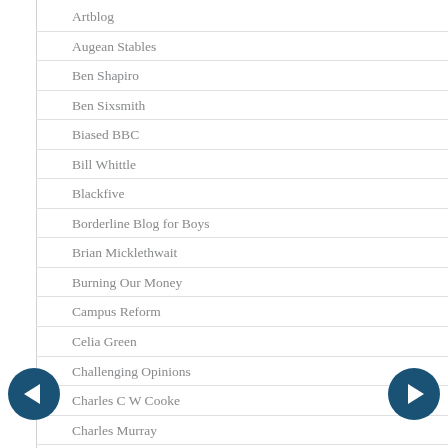Artblog
Augean Stables
Ben Shapiro
Ben Sixsmith
Biased BBC
Bill Whittle
Blackfive
Borderline Blog for Boys
Brian Micklethwait
Burning Our Money
Campus Reform
Celia Green
Challenging Opinions
Charles C W Cooke
Charles Murray
Chicago Boyz
Christopher Rufo
City Journal
Climate Depot
College Fix
College Insurrection
Coudal
Creative Review
Daily Ablution (archive)